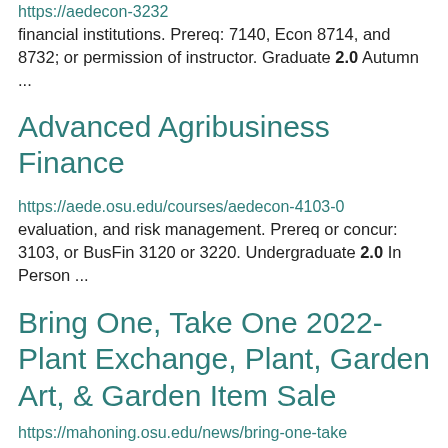https://aedecon-3232 financial institutions. Prereq: 7140, Econ 8714, and 8732; or permission of instructor. Graduate 2.0 Autumn ...
Advanced Agribusiness Finance
https://aede.osu.edu/courses/aedecon-4103-0 evaluation, and risk management. Prereq or concur: 3103, or BusFin 3120 or 3220. Undergraduate 2.0 In Person ...
Bring One, Take One 2022- Plant Exchange, Plant, Garden Art, & Garden Item Sale
https://mahoning.osu.edu/news/bring-one-take